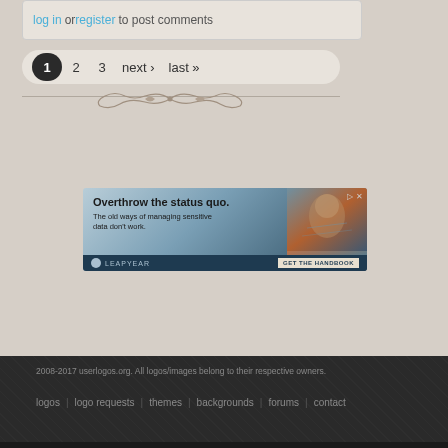log in or register to post comments
1 2 3 next › last »
[Figure (illustration): Decorative ornamental divider with scrollwork]
[Figure (screenshot): Advertisement banner: Overthrow the status quo. The old ways of managing sensitive data don't work. LEAPYEAR GET THE HANDBOOK]
2008-2017 userlogos.org. All logos/images belong to their respective owners.
logos | logo requests | themes | backgrounds | forums | contact